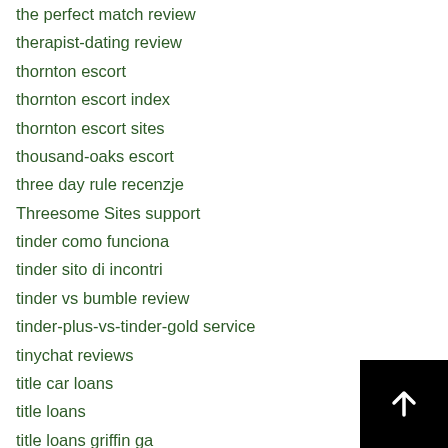the perfect match review
therapist-dating review
thornton escort
thornton escort index
thornton escort sites
thousand-oaks escort
three day rule recenzje
Threesome Sites support
tinder como funciona
tinder sito di incontri
tinder vs bumble review
tinder-plus-vs-tinder-gold service
tinychat reviews
title car loans
title loans
title loans griffin ga
title loans near me
title loans near me now
title loans near me open